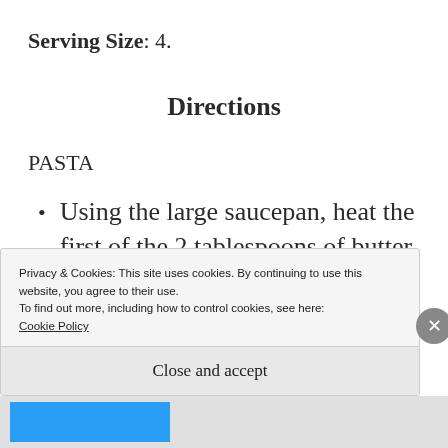Serving Size: 4.
Directions
PASTA
Using the large saucepan, heat the first of the 2 tablespoons of butter over medium high heat.
Privacy & Cookies: This site uses cookies. By continuing to use this website, you agree to their use.
To find out more, including how to control cookies, see here: Cookie Policy
Close and accept